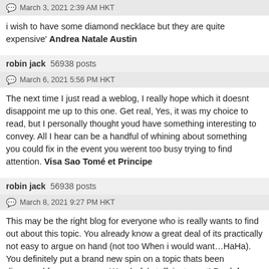March 3, 2021 2:39 AM HKT
i wish to have some diamond necklace but they are quite expensive' Andrea Natale Austin
robin jack 56938 posts
March 6, 2021 5:56 PM HKT
The next time I just read a weblog, I really hope which it doesnt disappoint me up to this one. Get real, Yes, it was my choice to read, but I personally thought youd have something interesting to convey. All I hear can be a handful of whining about something you could fix in the event you werent too busy trying to find attention. Visa Sao Tomé et Principe
robin jack 56938 posts
March 8, 2021 9:27 PM HKT
This may be the right blog for everyone who is really wants to find out about this topic. You already know a great deal of its practically not easy to argue on hand (not too When i would want…HaHa). You definitely put a brand new spin on a topic thats been discussed for many years. Wonderful stuff, just great! Daniel Gordon